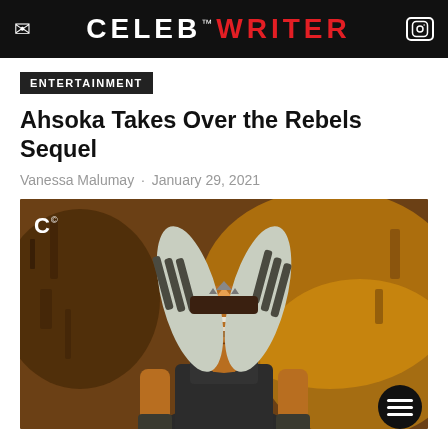CELEB™ WRITER
ENTERTAINMENT
Ahsoka Takes Over the Rebels Sequel
Vanessa Malumay · January 29, 2021
[Figure (illustration): Illustrated/render artwork of Ahsoka Tano character from Star Wars, wearing a dark outfit with distinctive white and dark-striped montrals (head-tails), orange and white face markings, set against a warm golden-orange background with ancient-looking wall carvings. A C™ watermark is visible in the upper left corner and a circular menu button in the lower right.]